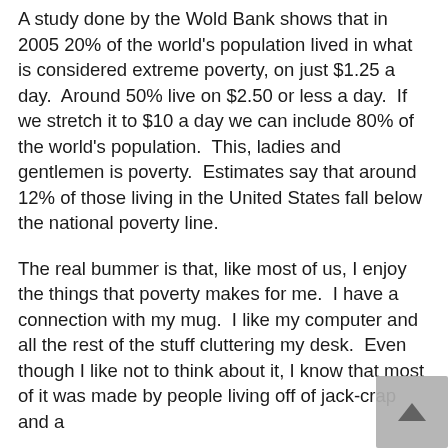A study done by the Wold Bank shows that in 2005 20% of the world's population lived in what is considered extreme poverty, on just $1.25 a day.  Around 50% live on $2.50 or less a day.  If we stretch it to $10 a day we can include 80% of the world's population.  This, ladies and gentlemen is poverty.  Estimates say that around 12% of those living in the United States fall below the national poverty line.
The real bummer is that, like most of us, I enjoy the things that poverty makes for me.  I have a connection with my mug.  I like my computer and all the rest of the stuff cluttering my desk.  Even though I like not to think about it, I know that most of it was made by people living off of jack-crap and a